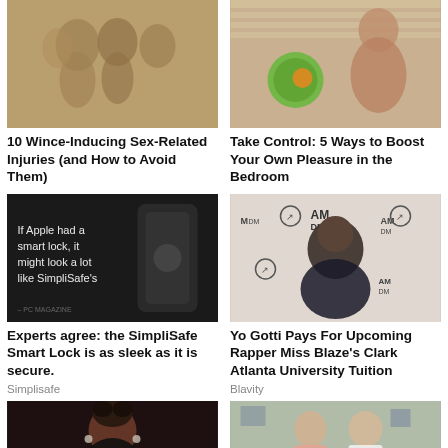[Figure (photo): Stone temple sculptures/carvings of figures]
[Figure (photo): Woman in bikini posing indoors with blinds in background, with a circular green logo overlay]
10 Wince-Inducing Sex-Related Injuries (and How to Avoid Them)
Take Control: 5 Ways to Boost Your Own Pleasure in the Bedroom
[Figure (photo): Dark background with white text: 'If Apple had a smart lock, it might look a lot like SimpliSafe's' with a smart lock device]
[Figure (photo): Yo Gotti at an AM/DM branded event, hands clasped in prayer pose]
Experts agree: the SimpliSafe Smart Lock is as sleek as it is secure.
Simplisafe
Yo Gotti Pays For Upcoming Rapper Miss Blaze's Clark Atlanta University Tuition
Blavity
[Figure (photo): Young Black woman with updo hairstyle and hoop earrings]
[Figure (photo): Couple standing indoors, woman in pink top and man in white shirt]